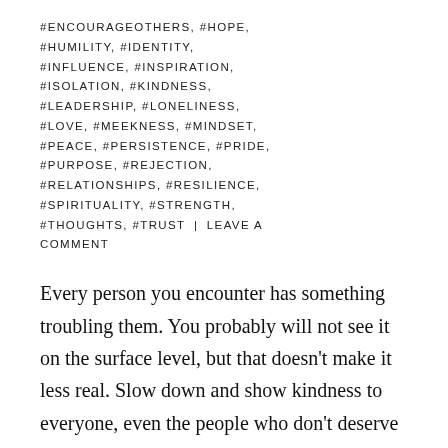#ENCOURAGEOTHERS, #HOPE, #HUMILITY, #IDENTITY, #INFLUENCE, #INSPIRATION, #ISOLATION, #KINDNESS, #LEADERSHIP, #LONELINESS, #LOVE, #MEEKNESS, #MINDSET, #PEACE, #PERSISTENCE, #PRIDE, #PURPOSE, #REJECTION, #RELATIONSHIPS, #RESILIENCE, #SPIRITUALITY, #STRENGTH, #THOUGHTS, #TRUST | LEAVE A COMMENT
Every person you encounter has something troubling them. You probably will not see it on the surface level, but that doesn't make it less real. Slow down and show kindness to everyone, even the people who don't deserve it. They need kindness shown to them the most, and you will benefit as well